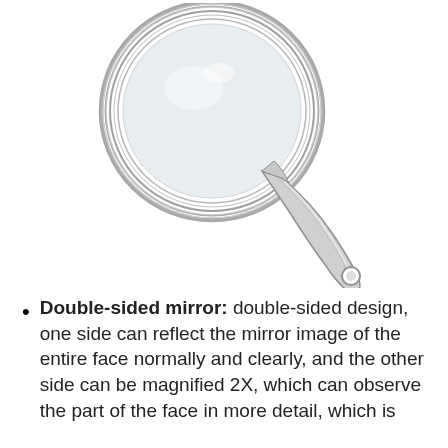[Figure (illustration): A hand-held double-sided mirror with a round mirror head and a handle with a hole at the bottom. The mirror has a chrome/silver metallic finish with decorative ridged border. The handle extends diagonally to the lower right.]
Double-sided mirror: double-sided design, one side can reflect the mirror image of the entire face normally and clearly, and the other side can be magnified 2X, which can observe the part of the face in more detail, which is